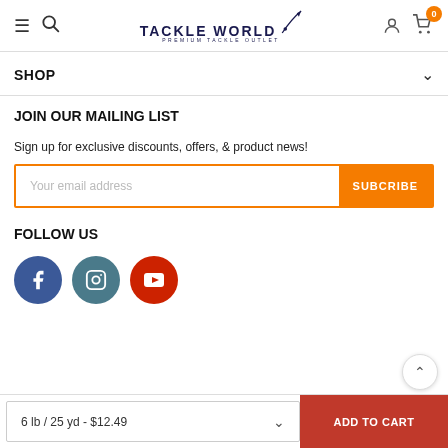Tackle World - Premium Tackle Outlet
SHOP
JOIN OUR MAILING LIST
Sign up for exclusive discounts, offers, & product news!
Your email address | SUBCRIBE
FOLLOW US
[Figure (illustration): Social media icons: Facebook (blue circle), Instagram (teal circle), YouTube (red circle)]
6 lb / 25 yd - $12.49 | ADD TO CART